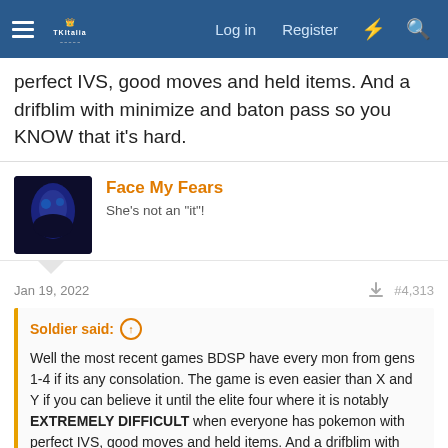TKItalia forum navbar with Log in, Register, lightning, search icons
perfect IVS, good moves and held items. And a drifblim with minimize and baton pass so you KNOW that it's hard.
Face My Fears
She's not an "it"!
Jan 19, 2022
#4,313
Soldier said:
Well the most recent games BDSP have every mon from gens 1-4 if its any consolation. The game is even easier than X and Y if you can believe it until the elite four where it is notably EXTREMELY DIFFICULT when everyone has pokemon with perfect IVS, good moves and held items. And a drifblim with minimize and baton pass so you KNOW that it's hard.
Well Diamond was always really easy to me. I never thought their Elite 4 were hard. I can't really think of an Elite 4 that was hard. I wish they would make a Pokemon game that was